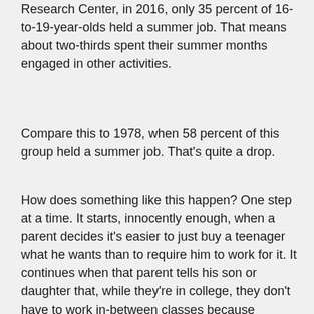Research Center, in 2016, only 35 percent of 16-to-19-year-olds held a summer job. That means about two-thirds spent their summer months engaged in other activities.
Compare this to 1978, when 58 percent of this group held a summer job. That's quite a drop.
How does something like this happen? One step at a time. It starts, innocently enough, when a parent decides it's easier to just buy a teenager what he wants than to require him to work for it. It continues when that parent tells his son or daughter that, while they're in college, they don't have to work in-between classes because "studying" is their job. It continues when the parent goes along with the excuse from their 20-something that the reason they can't find a job is because life has stacked the deck against them.